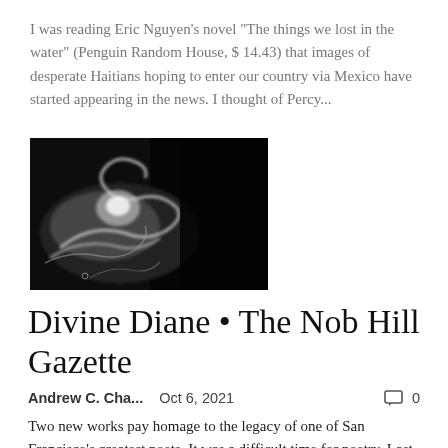I was reading Eric Nguyen's novel "The things we lost in the water" (Penguin Random House, $ 14.43) that images of desperate Haitians hoping to enter our country via Mexico have started appearing in the news. I thought of Percy...
[Figure (photo): Black and white photograph showing swirling water or clouds, dark background with white turbulent forms]
Divine Diane • The Nob Hill Gazette
Andrew C. Cha...    Oct 6, 2021    💬 0
Two new works pay homage to the legacy of one of San Francisco's greatest poets. It was a difficult time for poetry. Last year alone we